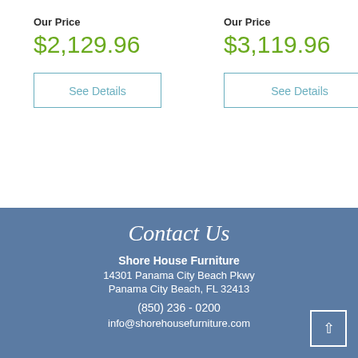Our Price
$2,129.96
See Details
Our Price
$3,119.96
See Details
Contact Us
Shore House Furniture
14301 Panama City Beach Pkwy
Panama City Beach, FL 32413
(850) 236 - 0200
info@shorehousefurniture.com